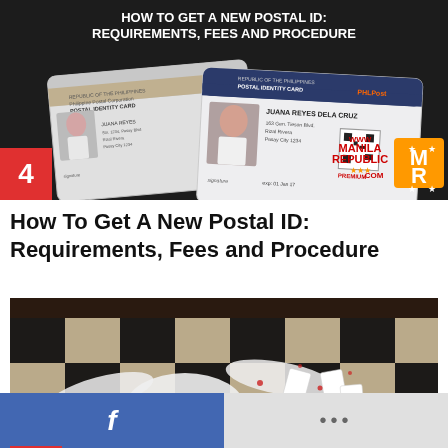[Figure (photo): Dark background showing two Philippine Postal Identity Cards (PHLPost) with a woman's photo, labeled JUANA REYES DELA CRUZ, PREMIUM card. Manila Republic watermark logo in bottom right corner. Text overlay: HOW TO GET A NEW POSTAL ID: REQUIREMENTS, FEES AND PROCEDURE]
How To Get A New Postal ID: Requirements, Fees and Procedure
[Figure (photo): Person lying on a black and white checkered floor surrounded by scattered playing cards, wearing white clothing.]